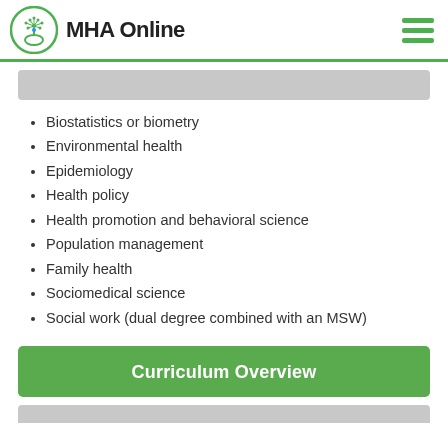MHA Online
Biostatistics or biometry
Environmental health
Epidemiology
Health policy
Health promotion and behavioral science
Population management
Family health
Sociomedical science
Social work (dual degree combined with an MSW)
Curriculum Overview